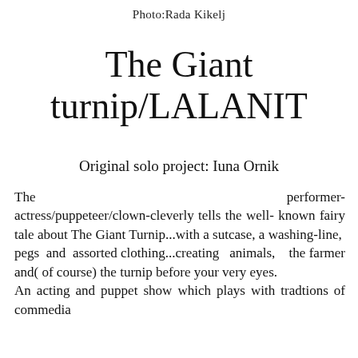Photo:Rada Kikelj
The Giant turnip/LALANIT
Original solo project: Iuna Ornik
The performer-actress/puppeteer/clown-cleverly tells the well- known fairy tale about The Giant Turnip...with a sutcase, a washing-line, pegs and assorted clothing...creating animals, the farmer and( of course) the turnip before your very eyes.
An acting and puppet show which plays with tradtions of commedia